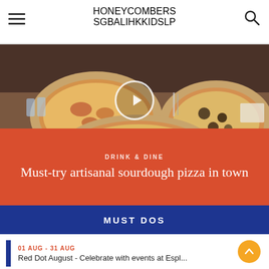HONEYCOMBERS  SG  BALI  HK  KIDS  LP
[Figure (photo): Facebook video post showing three artisanal sourdough pizzas on a wooden table, with a play button overlay and Facebook icon. Caption reads: Posted by Honeycombers]
DRINK & DINE
Must-try artisanal sourdough pizza in town
MUST DOS
01 AUG - 31 AUG
Red Dot August - Celebrate with events at Espl...